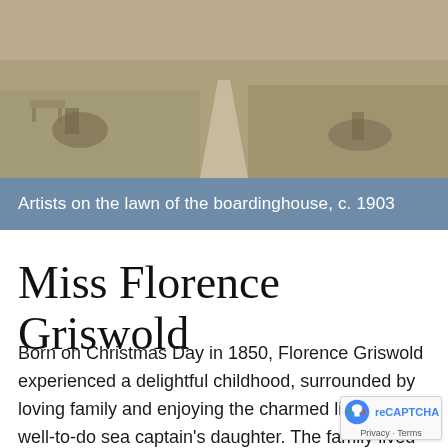[Figure (photo): Sepia-toned historical photograph of artists on the lawn of a boardinghouse, circa 1903. Shows a path through grassy lawn with figures visible.]
Artists on the lawn of the boardinghouse, c. 1903
Miss Florence Griswold
Born on Christmas Day in 1850, Florence Griswold experienced a delightful childhood, surrounded by loving family and enjoying the charmed lifestyle of a well-to-do sea captain's daughter. The family lived in one of the largest homes in town and girls attended a private school run by an aunt New London. Florence was adept at music.